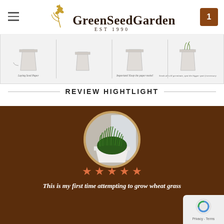GreenSeedGarden EST 1990
[Figure (illustration): Four step instruction images showing pots with seed paper, kept moist, and germinating]
REVIEW HIGHTLIGHT
[Figure (photo): Circular photo of a white pot with thick green wheatgrass growing in it, displayed on a brown background]
★★★★★
This is my first time attempting to grow wheat grass